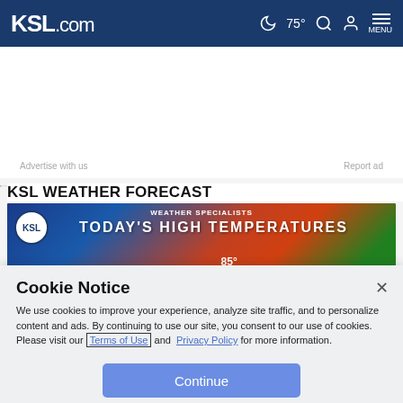KSL.com   ☾ 75°  🔍  👤  MENU
Advertise with us    Report ad
KSL WEATHER FORECAST
[Figure (screenshot): KSL Weather Forecast image showing WEATHER SPECIALISTS TODAY'S HIGH TEMPERATURES with a weather map and a meteorologist]
Cookie Notice
We use cookies to improve your experience, analyze site traffic, and to personalize content and ads. By continuing to use our site, you consent to our use of cookies. Please visit our Terms of Use and  Privacy Policy for more information.
Continue